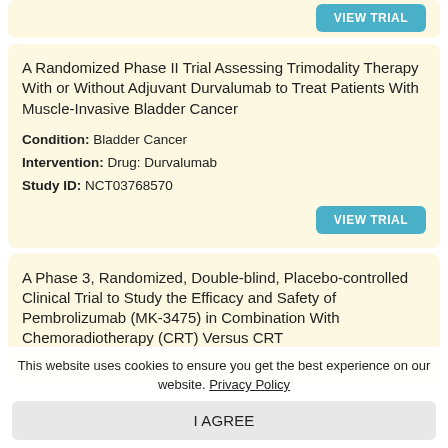A Randomized Phase II Trial Assessing Trimodality Therapy With or Without Adjuvant Durvalumab to Treat Patients With Muscle-Invasive Bladder Cancer
Condition: Bladder Cancer
Intervention: Drug: Durvalumab
Study ID: NCT03768570
A Phase 3, Randomized, Double-blind, Placebo-controlled Clinical Trial to Study the Efficacy and Safety of Pembrolizumab (MK-3475) in Combination With Chemoradiotherapy (CRT) Versus CRT
This website uses cookies to ensure you get the best experience on our website. Privacy Policy
I AGREE